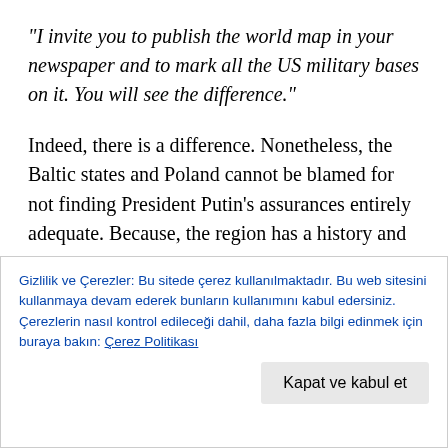“I invite you to publish the world map in your newspaper and to mark all the US military bases on it. You will see the difference.”
Indeed, there is a difference. Nonetheless, the Baltic states and Poland cannot be blamed for not finding President Putin’s assurances entirely adequate. Because, the region has a history and they need more time.
China, while rising as a global economic power, has refrained from getting involved in international conflicts
Gizlilik ve Çerezler: Bu sitede çerez kullanılmaktadır. Bu web sitesini kullanmaya devam ederek bunların kullanımını kabul edersiniz. Çerezlerin nasıl kontrol edileceği dahil, daha fazla bilgi edinmek için buraya bakın: Çerez Politikası
Kapat ve kabul et